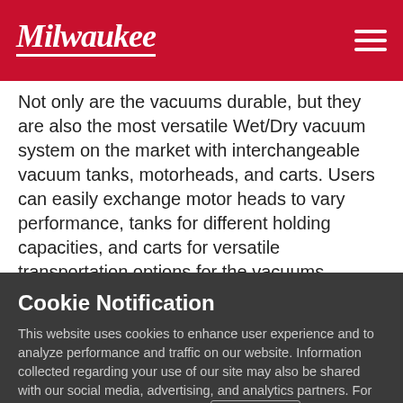Milwaukee
Not only are the vacuums durable, but they are also the most versatile Wet/Dry vacuum system on the market with interchangeable vacuum tanks, motorheads, and carts. Users can easily exchange motor heads to vary performance, tanks for different holding capacities, and carts for versatile transportation options for the vacuums around the jobsite. With the interchangeability for varying performance, holding capacity, and mobility, the system can adapt to any jobsite
Cookie Notification
This website uses cookies to enhance user experience and to analyze performance and traffic on our website. Information collected regarding your use of our site may also be shared with our social media, advertising, and analytics partners. For further details, please review our Privacy Policy
Cookie Settings
Accept Cookies